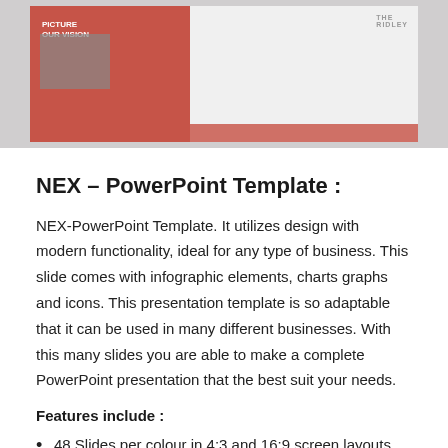[Figure (screenshot): A screenshot of a PowerPoint presentation slide showing a red and grey design with 'OUR VISION' text and a building image, with a logo in the top right corner.]
NEX – PowerPoint Template :
NEX-PowerPoint Template. It utilizes design with modern functionality, ideal for any type of business. This slide comes with infographic elements, charts graphs and icons. This presentation template is so adaptable that it can be used in many different businesses. With this many slides you are able to make a complete PowerPoint presentation that the best suit your needs.
Features include :
48 Slides per colour in 4:3 and 16:9 screen layouts